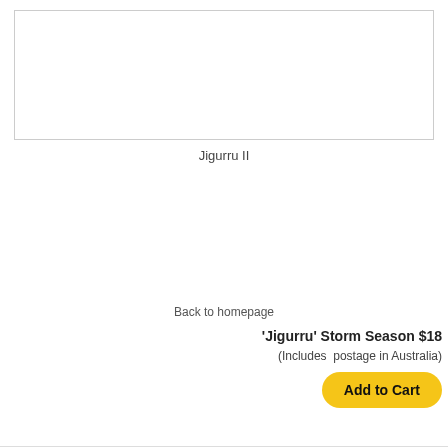[Figure (other): Empty white image box with light grey border, representing a product image placeholder for Jigurru II]
Jigurru II
Back to homepage
'Jigurru' Storm Season $18
(Includes postage in Australia)
Add to Cart